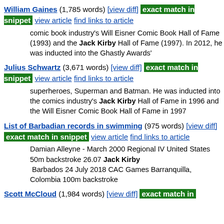William Gaines (1,785 words) [view diff] exact match in snippet view article find links to article
comic book industry's Will Eisner Comic Book Hall of Fame (1993) and the Jack Kirby Hall of Fame (1997). In 2012, he was inducted into the Ghastly Awards'
Julius Schwartz (3,671 words) [view diff] exact match in snippet view article find links to article
superheroes, Superman and Batman. He was inducted into the comics industry's Jack Kirby Hall of Fame in 1996 and the Will Eisner Comic Book Hall of Fame in 1997
List of Barbadian records in swimming (975 words) [view diff] exact match in snippet view article find links to article
Damian Alleyne - March 2000 Regional IV United States 50m backstroke 26.07 Jack Kirby Barbados 24 July 2018 CAC Games Barranquilla, Colombia 100m backstroke
Scott McCloud (1,984 words) [view diff] exact match in